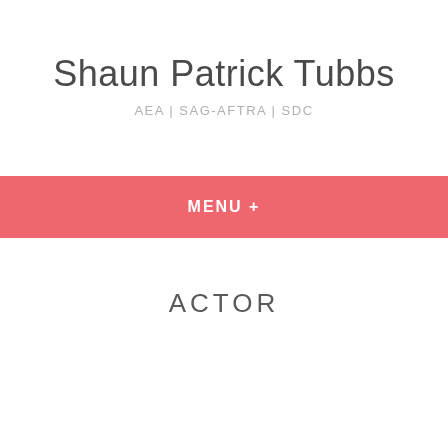Shaun Patrick Tubbs
AEA | SAG-AFTRA | SDC
MENU +
ACTOR